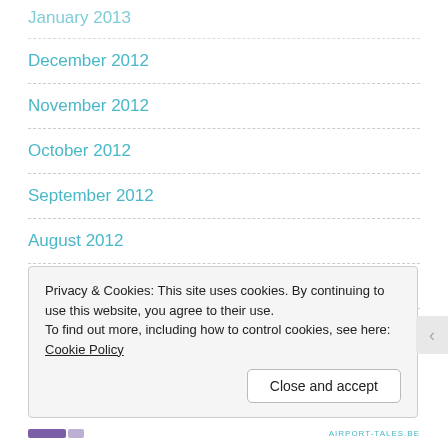January 2013
December 2012
November 2012
October 2012
September 2012
August 2012
July 2012
June 2012
Privacy & Cookies: This site uses cookies. By continuing to use this website, you agree to their use.
To find out more, including how to control cookies, see here: Cookie Policy
AIRPORT-TALES.BE